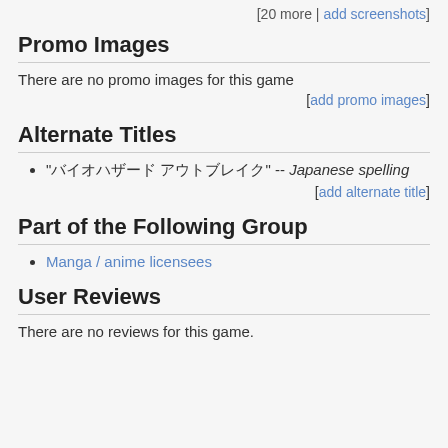[20 more | add screenshots]
Promo Images
There are no promo images for this game
[add promo images]
Alternate Titles
"バイオハザード アウトブレイク" -- Japanese spelling
[add alternate title]
Part of the Following Group
Manga / anime licensees
User Reviews
There are no reviews for this game.